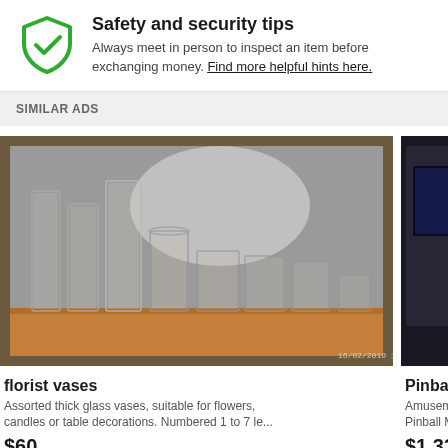[Figure (other): Green shield with checkmark icon for safety and security]
Safety and security tips
Always meet in person to inspect an item before exchanging money. Find more helpful hints here.
SIMILAR ADS
[Figure (photo): Photo of assorted clear glass florist vases of various heights arranged on a wooden shelf, timestamped 16/02/2019 15:48]
florist vases
Assorted thick glass vases, suitable for flowers, candles or table decorations. Numbered 1 to 7 le...
$60
[Figure (photo): Partial photo of a pinball machine repair shop with dark arcade machines visible]
Pinball Repa
Amusement V... Pinball Machi...
$1,334